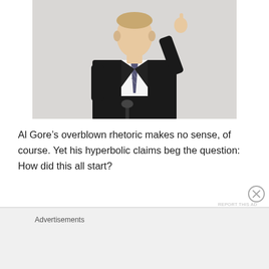[Figure (photo): Man in black suit with striped tie raising one finger, standing at a podium against a light gray background]
Al Gore’s overblown rhetoric makes no sense, of course. Yet his hyperbolic claims beg the question: How did this all start?
Back in the 1970s, media articles warning of imminent climate change problems began to appear regularly. TIME and Newsweek ran multiple cover stories asserting that oil companies and America’s capitalist life style were causing
Advertisements